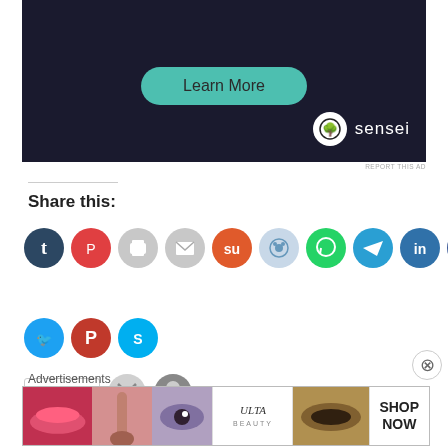[Figure (illustration): Advertisement banner with dark background showing a 'Learn More' teal button and Sensei logo with bonsai tree icon in bottom right]
REPORT THIS AD
Share this:
[Figure (infographic): Row of social sharing icon buttons: Tumblr (dark navy), Pocket (red), Print (gray), Email (gray), StumbleUpon (orange), Reddit (light blue), WhatsApp (green), Telegram (teal), LinkedIn (blue), Facebook (blue)]
[Figure (infographic): Second row of social sharing icon buttons: Twitter (blue), Pinterest (red), Skype (blue)]
[Figure (illustration): Like button with star icon, and two blogger avatar circles]
2 bloggers like this.
Advertisements
[Figure (illustration): ULTA Beauty advertisement banner showing makeup imagery, lips, brush, eye, ULTA logo and SHOP NOW text]